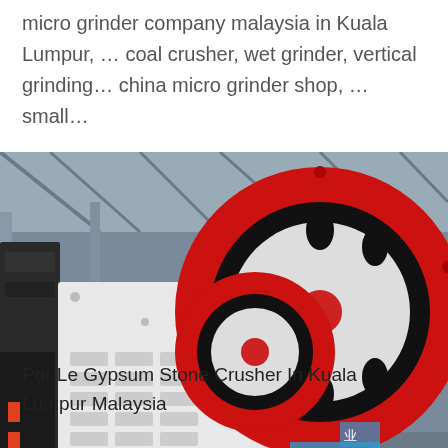micro grinder company malaysia in Kuala Lumpur, … coal crusher, wet grinder, vertical grinding… china micro grinder shop, … small…
[Figure (photo): Industrial jaw crusher machine with large red and black flywheel, white body, photographed inside a factory warehouse. Text visible in background: 'ing Mining Machinery'.]
Por Le Gypsum Stone Crusher In Kuala Lumpur Malaysia